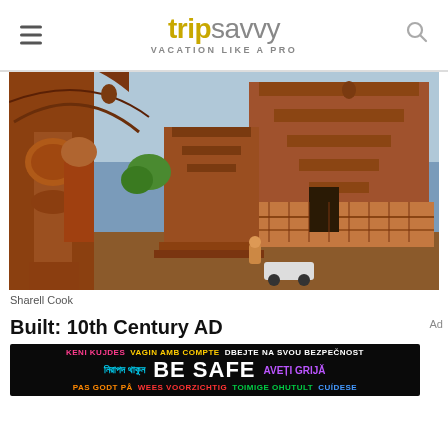tripsavvy VACATION LIKE A PRO
[Figure (photo): Close-up photograph of an ancient Hindu temple with intricate red sandstone carvings, pillars, and tiered shikhara tower, Odisha, India.]
Sharell Cook
Built: 10th Century AD
[Figure (infographic): BE SAFE multilingual safety awareness advertisement banner with colorful text in multiple languages on dark background.]